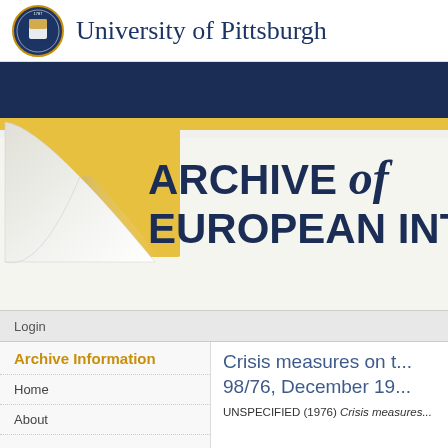University of Pittsburgh
[Figure (illustration): University of Pittsburgh website header with dark blue banner, yellow stripe, page curl graphic, and large text reading ARCHIVE of EUROPEAN INTE]
Login
Archive Information
Home
About
Crisis measures on t... 98/76, December 19...
UNSPECIFIED (1976) Crisis measures...